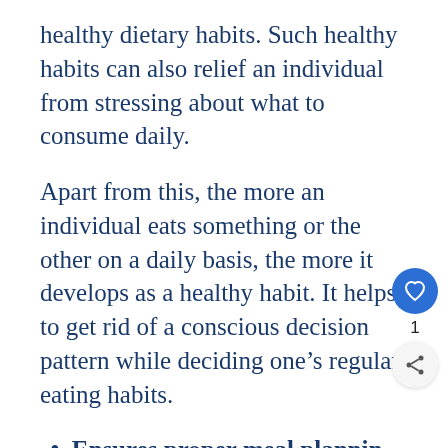healthy dietary habits. Such healthy habits can also relief an individual from stressing about what to consume daily.
Apart from this, the more an individual eats something or the other on a daily basis, the more it develops as a healthy habit. It helps to get rid of a conscious decision pattern while deciding one’s regular eating habits.
Ensures proper meal plannin
With the help of a similar food habit on a daily basis, an individual can easily